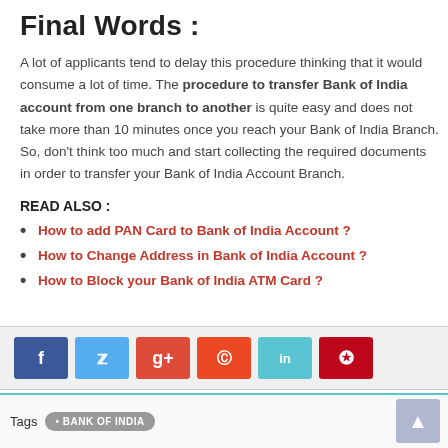Final Words :
A lot of applicants tend to delay this procedure thinking that it would consume a lot of time. The procedure to transfer Bank of India account from one branch to another is quite easy and does not take more than 10 minutes once you reach your Bank of India Branch. So, don’t think too much and start collecting the required documents in order to transfer your Bank of India Account Branch.
READ ALSO :
How to add PAN Card to Bank of India Account ?
How to Change Address in Bank of India Account ?
How to Block your Bank of India ATM Card ?
[Figure (infographic): Social sharing buttons: Facebook (blue), Twitter (light blue), Google+ (red), StumbleUpon (orange-red), LinkedIn (teal), Pinterest (dark red)]
Tags  BANK OF INDIA